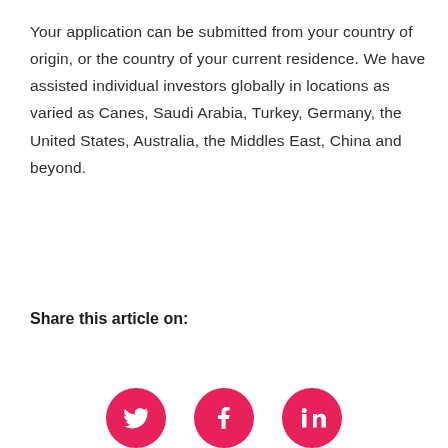Your application can be submitted from your country of origin, or the country of your current residence. We have assisted individual investors globally in locations as varied as Canes, Saudi Arabia, Turkey, Germany, the United States, Australia, the Middles East, China and beyond.
Share this article on:
[Figure (infographic): Three pink circular social media icons for Twitter, Facebook, and LinkedIn, partially visible at the bottom of the page.]